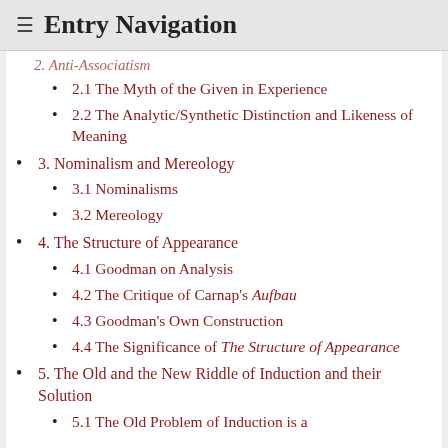≡ Entry Navigation
2. Anti-Associatism (partial, top-clipped)
2.1 The Myth of the Given in Experience
2.2 The Analytic/Synthetic Distinction and Likeness of Meaning
3. Nominalism and Mereology
3.1 Nominalisms
3.2 Mereology
4. The Structure of Appearance
4.1 Goodman on Analysis
4.2 The Critique of Carnap's Aufbau
4.3 Goodman's Own Construction
4.4 The Significance of The Structure of Appearance
5. The Old and the New Riddle of Induction and their Solution
5.1 The Old Problem of Induction is a ...